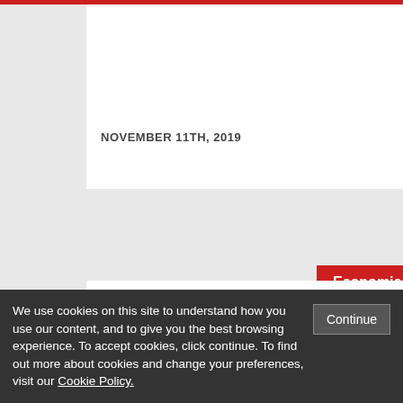NOVEMBER 11TH, 2019
Economics and Finance
Completion of the Eurozone may not
We use cookies on this site to understand how you use our content, and to give you the best browsing experience. To accept cookies, click continue. To find out more about cookies and change your preferences, visit our Cookie Policy.